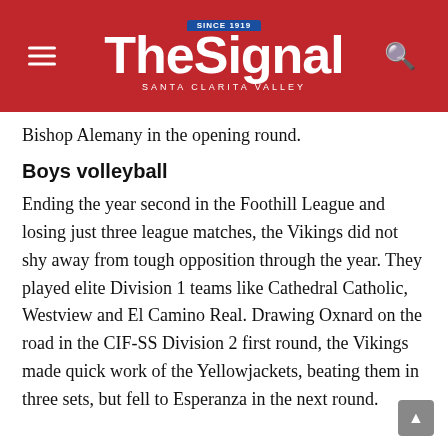The Signal — Santa Clarita Valley
Bishop Alemany in the opening round.
Boys volleyball
Ending the year second in the Foothill League and losing just three league matches, the Vikings did not shy away from tough opposition through the year. They played elite Division 1 teams like Cathedral Catholic, Westview and El Camino Real. Drawing Oxnard on the road in the CIF-SS Division 2 first round, the Vikings made quick work of the Yellowjackets, beating them in three sets, but fell to Esperanza in the next round.